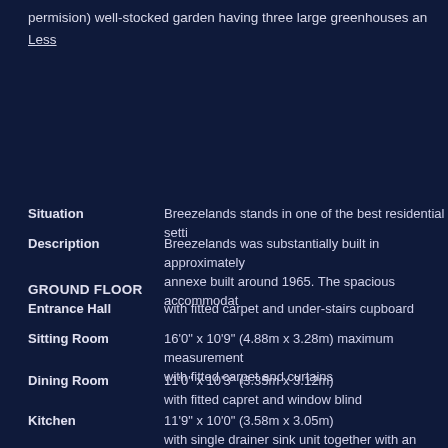permision) well-stocked garden having three large greenhouses an
Less
Situation
Description
GROUND FLOOR
Entrance Hall
Sitting Room
Dining Room
Kitchen